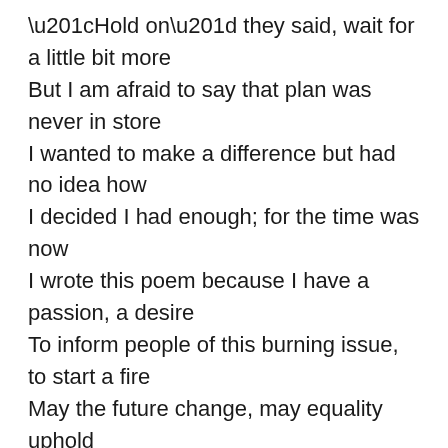“Hold on” they said, wait for a little bit more
But I am afraid to say that plan was never in store
I wanted to make a difference but had no idea how
I decided I had enough; for the time was now
I wrote this poem because I have a passion, a desire
To inform people of this burning issue, to start a fire
May the future change, may equality uphold
Through every single change, even outrageous and bold
I try and try to remain positive through it all
I don’t want to slip up, to tumble and